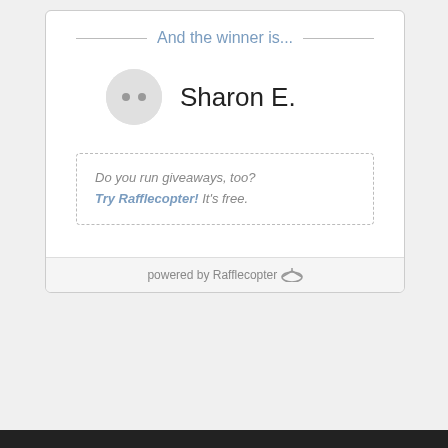And the winner is...
Sharon E.
Do you run giveaways, too? Try Rafflecopter! It's free.
powered by Rafflecopter